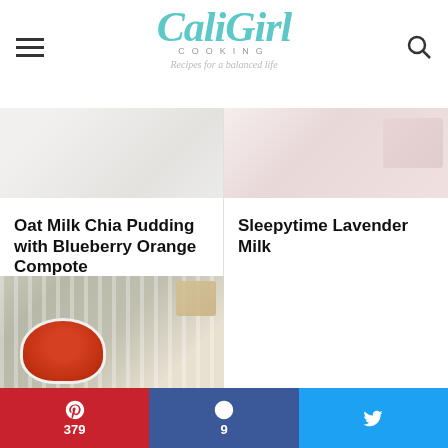CaliGirl COOKING - Recipes for a balanced life
[Figure (photo): Partial photo of a light-colored food dish against white background (top portion visible)]
[Figure (photo): Partial photo of flowers and pink fabric background (top portion visible)]
Oat Milk Chia Pudding with Blueberry Orange Compote
Sleepytime Lavender Milk
[Figure (photo): Bowl of orange-red tomato chili sauce with crackers on a striped cloth napkin]
Pinterest 379 | Facebook 9 | Twitter